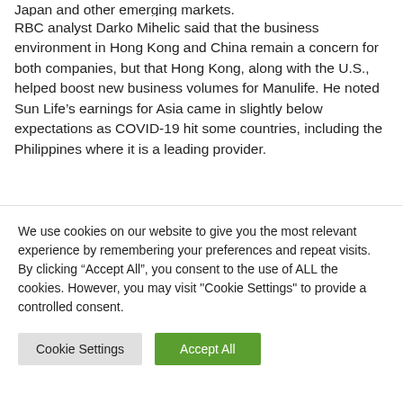Japan and other emerging markets.
RBC analyst Darko Mihelic said that the business environment in Hong Kong and China remain a concern for both companies, but that Hong Kong, along with the U.S., helped boost new business volumes for Manulife. He noted Sun Life’s earnings for Asia came in slightly below expectations as COVID-19 hit some countries, including the Philippines where it is a leading provider.
Sun Life also saw total insurance sales decline 14 per cent
We use cookies on our website to give you the most relevant experience by remembering your preferences and repeat visits. By clicking “Accept All”, you consent to the use of ALL the cookies. However, you may visit "Cookie Settings" to provide a controlled consent.